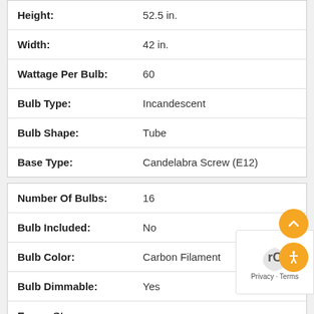| Height: | 52.5 in. |
| Width: | 42 in. |
| Wattage Per Bulb: | 60 |
| Bulb Type: | Incandescent |
| Bulb Shape: | Tube |
| Base Type: | Candelabra Screw (E12) |
| Number Of Bulbs: | 16 |
| Bulb Included: | No |
| Bulb Color: | Carbon Filament |
| Bulb Dimmable: | Yes |
| EnergyStar Compliant: | No |
| Material: | Steel |